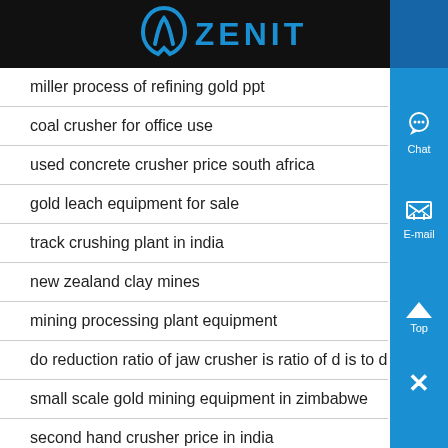ZENIT
miller process of refining gold ppt
coal crusher for office use
used concrete crusher price south africa
gold leach equipment for sale
track crushing plant in india
new zealand clay mines
mining processing plant equipment
do reduction ratio of jaw crusher is ratio of d is to d
small scale gold mining equipment in zimbabwe
second hand crusher price in india
machines in africa